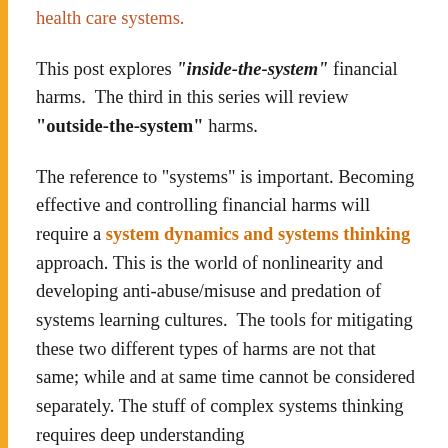health care systems.
This post explores "inside-the-system" financial harms.  The third in this series will review "outside-the-system" harms.
The reference to “systems” is important. Becoming effective and controlling financial harms will require a system dynamics and systems thinking approach. This is the world of nonlinearity and developing anti-abuse/misuse and predation of systems learning cultures.  The tools for mitigating these two different types of harms are not that same; while and at same time cannot be considered separately. The stuff of complex systems thinking requires deep understanding